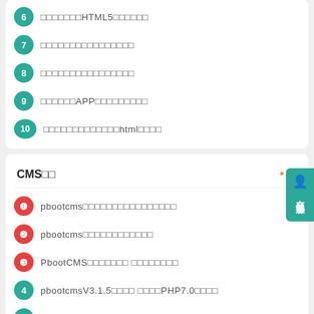6 □□□□□□□HTML5□□□□□□
7 □□□□□□□□□□□□□□□□
8 □□□□□□□□□□□□□□□□
9 □□□□□□APP□□□□□□□□□
10 □□□□□□□□□□□□□html□□□□
CMS□□
1 pbootcms□□□□□□□□□□□□□□□□
2 pbootcms□□□□□□□□□□□□
3 PbootCMS□□□□□□□ □□□□□□□□
4 pbootcmsV3.1.5□□□□ □□□□PHP7.0□□□□
5 pbootcms□□□□□□□□□□□□□□
6 pbootcms□□□□□□□□□□□□□□
7 pbootcms□□□□□□□□ □□□□□
8 pbootcms□□□□□ □□□□□□□